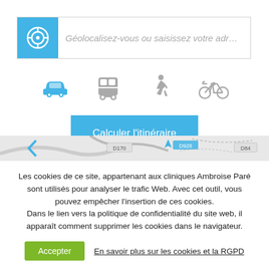[Figure (screenshot): Geolocation search input with blue icon box and placeholder text 'Géolocalisez-vous ou saisissez votre adre']
[Figure (screenshot): Transport mode icons: car (blue/active), bus, pedestrian, bicycle in a row]
[Figure (screenshot): Blue button labeled 'Calculer l'itinéraire']
[Figure (map): Partial map strip showing road labels D170, D928, D84]
Les cookies de ce site, appartenant aux cliniques Ambroise Paré sont utilisés pour analyser le trafic Web. Avec cet outil, vous pouvez empêcher l'insertion de ces cookies. Dans le lien vers la politique de confidentialité du site web, il apparaît comment supprimer les cookies dans le navigateur.
Accepter
En savoir plus sur les cookies et la RGPD